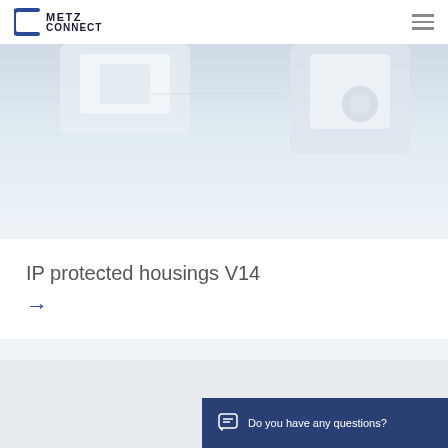METZ CONNECT
[Figure (photo): Partial product photo of IP protected housings/connectors on a light blue-grey background, showing white and metallic components]
IP protected housings V14
→
[Figure (photo): Partial view of next product section on light grey background]
Do you have any questions?